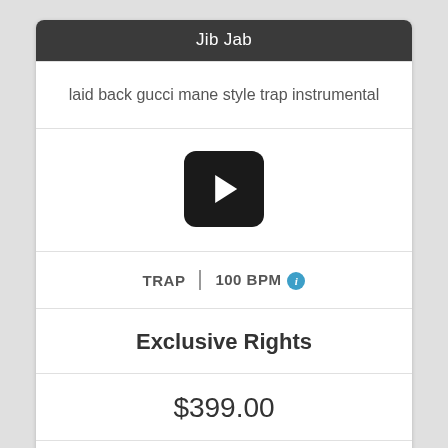Jib Jab
laid back gucci mane style trap instrumental
[Figure (other): Video play button (black rounded rectangle with white play triangle)]
TRAP  |  100 BPM ℹ
Exclusive Rights
$399.00
($60 CASH BACK TODAY ONLY)
Buy it now $339.00